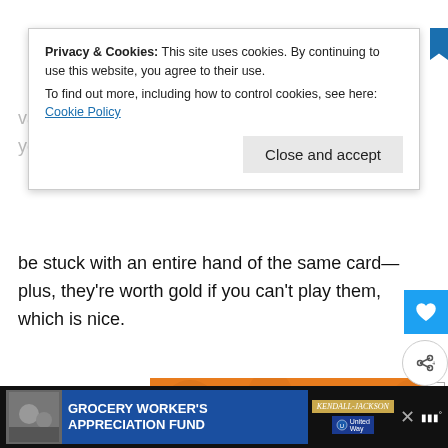variety of. Hand's does also make a difference, as you won't be stuck with an entire hand of the same card—plus, they're worth gold if you can't play them, which is nice.
[Figure (screenshot): Cookie consent banner overlay reading: 'Privacy & Cookies: This site uses cookies. By continuing to use this website, you agree to their use. To find out more, including how to control cookies, see here: Cookie Policy' with a 'Close and accept' button.]
[Figure (photo): Advertisement with orange background showing a black Labrador dog and text 'CHANGE A LIFE' in large white letters with heart icons.]
[Figure (screenshot): Bottom banner advertisement: 'GROCERY WORKER'S APPRECIATION FUND' with Kendall Jackson and United Way logos on dark background.]